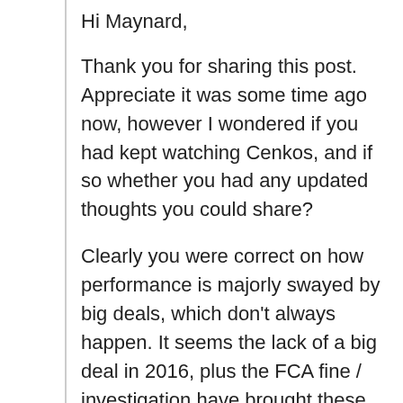Hi Maynard,
Thank you for sharing this post. Appreciate it was some time ago now, however I wondered if you had kept watching Cenkos, and if so whether you had any updated thoughts you could share?
Clearly you were correct on how performance is majorly swayed by big deals, which don't always happen. It seems the lack of a big deal in 2016, plus the FCA fine / investigation have brought these shares down substantially. I haven't yet looked in detail, but it appears for H1 2016 costs were controlled quite